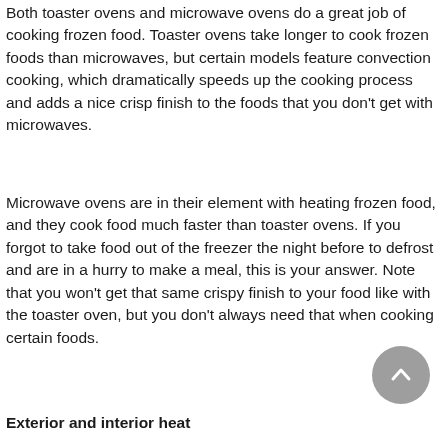Both toaster ovens and microwave ovens do a great job of cooking frozen food. Toaster ovens take longer to cook frozen foods than microwaves, but certain models feature convection cooking, which dramatically speeds up the cooking process and adds a nice crisp finish to the foods that you don't get with microwaves.
Microwave ovens are in their element with heating frozen food, and they cook food much faster than toaster ovens. If you forgot to take food out of the freezer the night before to defrost and are in a hurry to make a meal, this is your answer. Note that you won't get that same crispy finish to your food like with the toaster oven, but you don't always need that when cooking certain foods.
Exterior and interior heat